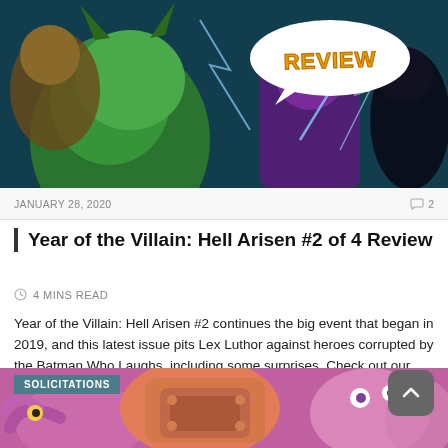[Figure (photo): Comic book review banner image showing colorful villain characters with a speech bubble saying REVIEW in orange/yellow text]
JANUARY 28, 2020
2 comments
Year of the Villain: Hell Arisen #2 of 4 Review
4 MINS READ
Year of the Villain: Hell Arisen #2 continues the big event that began in 2019, and this latest issue pits Lex Luthor against heroes corrupted by the Batman Who Laughs, including some surprises. Check out our review of the issue from DC Comics.
READ MORE
[Figure (photo): Bottom of page comic image with SOLICITATIONS badge and colorful alien/monster artwork in pinks and oranges]